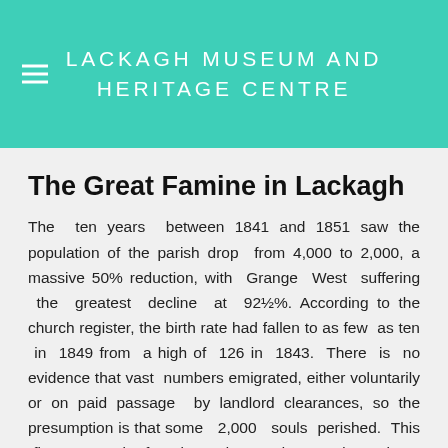LACKAGH MUSEUM AND HERITAGE CENTRE
The Great Famine in Lackagh
The ten years between 1841 and 1851 saw the population of the parish drop from 4,000 to 2,000, a massive 50% reduction, with Grange West suffering the greatest decline at 92½%. According to the church register, the birth rate had fallen to as few as ten in 1849 from a high of 126 in 1843. There is no evidence that vast numbers emigrated, either voluntarily or on paid passage by landlord clearances, so the presumption is that some 2,000 souls perished. This figure may in fact be understated as we do not have record of the number of men who came to work on the river drainage and stayed here with their families.
We can be certain that not one person was spared hardship at